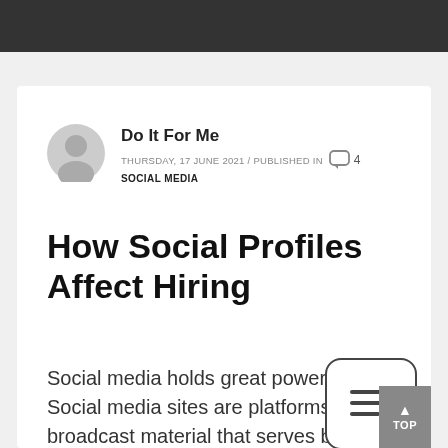Do It For Me
THURSDAY, 17 JUNE 2021 / PUBLISHED IN SOCIAL MEDIA
How Social Profiles Affect Hiring
Social media holds great power. Social media sites are platforms that broadcast material that serves both entertainment and information. Job seekers,